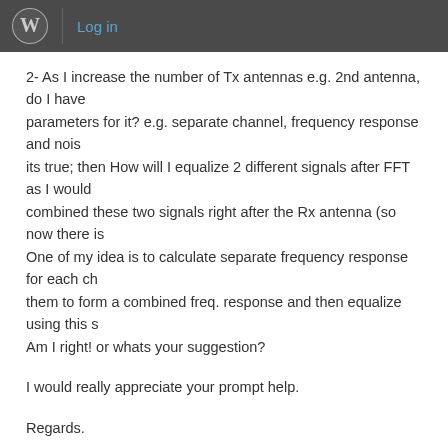Log in
2- As I increase the number of Tx antennas e.g. 2nd antenna, do I have parameters for it? e.g. separate channel, frequency response and noise its true; then How will I equalize 2 different signals after FFT as I would combined these two signals right after the Rx antenna (so now there is One of my idea is to calculate separate frequency response for each ch them to form a combined freq. response and then equalize using this s Am I right! or whats your suggestion?
I would really appreciate your prompt help.
Regards.
REPLY
Krishna Sankar  August 10, 2009 at 5:55 am
@Muhammad:
1/ For WiMAX channel models, you may refer to the article Channe Wireless Applications, Vinko Erceg, KVS Hari et al,